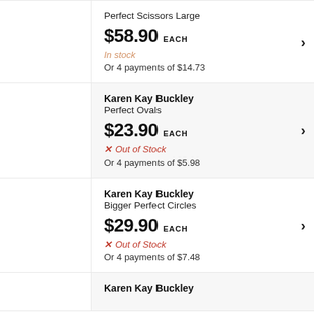Perfect Scissors Large
$58.90 EACH
In stock
Or 4 payments of $14.73
Karen Kay Buckley
Perfect Ovals
$23.90 EACH
✗ Out of Stock
Or 4 payments of $5.98
Karen Kay Buckley
Bigger Perfect Circles
$29.90 EACH
✗ Out of Stock
Or 4 payments of $7.48
Karen Kay Buckley